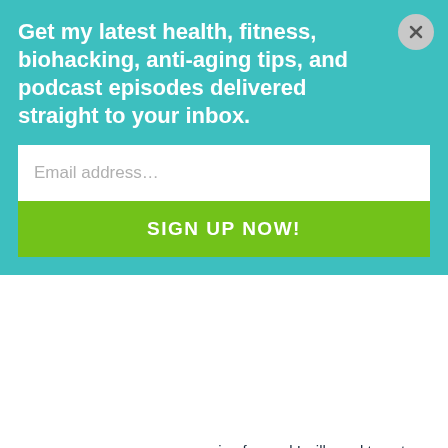Get my latest health, fitness, biohacking, anti-aging tips, and podcast episodes delivered straight to your inbox.
moving forward I will need to get my ldl (201mg/dl) under control but not via statins so i will be listening intently to watch research you will be carrying out and providing in your podcast. For now I'm going to get niacin and k2 into my supplement regime and perhaps look at one of your previous mentioned peptides ARA 290.
Reply